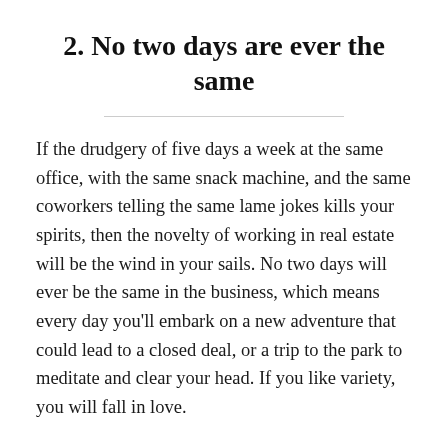2. No two days are ever the same
If the drudgery of five days a week at the same office, with the same snack machine, and the same coworkers telling the same lame jokes kills your spirits, then the novelty of working in real estate will be the wind in your sails. No two days will ever be the same in the business, which means every day you'll embark on a new adventure that could lead to a closed deal, or a trip to the park to meditate and clear your head. If you like variety, you will fall in love.